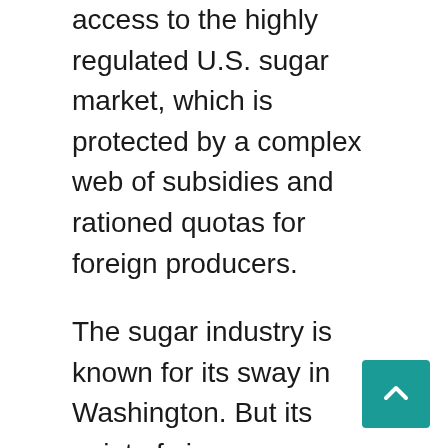access to the highly regulated U.S. sugar market, which is protected by a complex web of subsidies and rationed quotas for foreign producers.
The sugar industry is known for its sway in Washington. But its point of view on Mexican imports is not shared by sugar users such as confectioners and soda makers.
The Trump administration wants to clear away the sugar dispute and a lumber trade row with Canada before starting full-scale negotiations to revise the North American